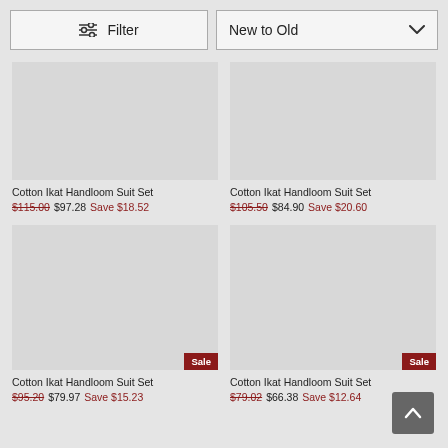Filter
New to Old
Cotton Ikat Handloom Suit Set
$115.00 $97.28 Save $18.52
Cotton Ikat Handloom Suit Set
$105.50 $84.90 Save $20.60
Cotton Ikat Handloom Suit Set
$95.20 $79.97 Save $15.23
Cotton Ikat Handloom Suit Set
$79.02 $66.38 Save $12.64